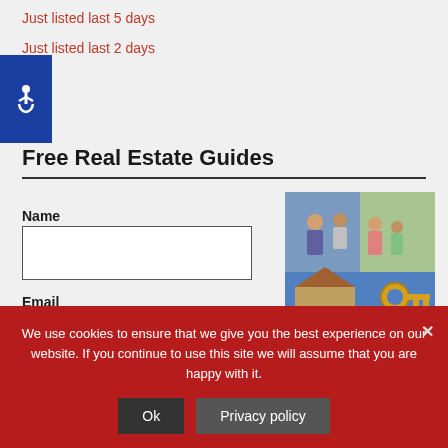Just listed last 5 days
Just listed last 2 days
[Figure (logo): Blue accessibility wheelchair icon button]
Free Real Estate Guides
Name
Email
[Figure (photo): Real estate buying guide booklet showing home buyers and a house with a key handover, with text 'Buying Guide']
We use cookies to ensure that we give you the best experience on our website. If you continue to use this site we will assume that you are happy with it.
Ok
Privacy policy